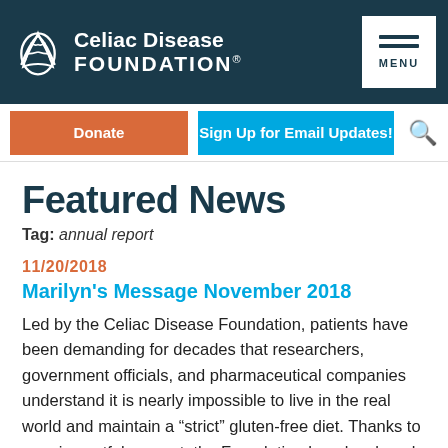[Figure (logo): Celiac Disease Foundation logo — leaf/wheat icon with white text on dark navy background]
Celiac Disease FOUNDATION®
Donate
Sign Up for Email Updates!
Featured News
Tag: annual report
11/20/2018
Marilyn's Message November 2018
Led by the Celiac Disease Foundation, patients have been demanding for decades that researchers, government officials, and pharmaceutical companies understand it is nearly impossible to live in the real world and maintain a "strict" gluten-free diet. Thanks to your impactful support, the Foundation has developed, and now offers to medical